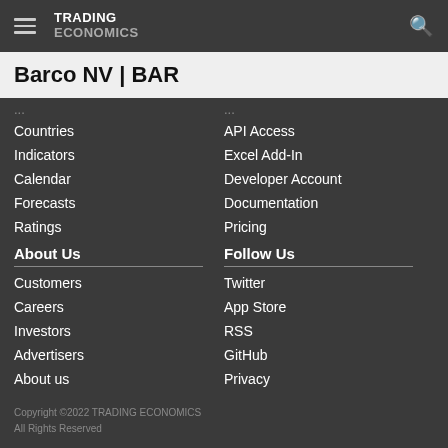TRADING ECONOMICS
Barco NV | BAR
Countries
Indicators
Calendar
Forecasts
Ratings
API Access
Excel Add-In
Developer Account
Documentation
Pricing
About Us
Customers
Careers
Investors
Advertisers
About us
Follow Us
Twitter
App Store
RSS
GitHub
Privacy
Copyright ©2022 TRADING ECONOMICS
All Rights Reserved